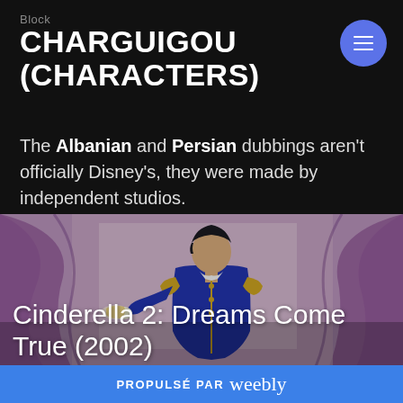Block
CHARGUIGOU (CHARACTERS)
The Albanian and Persian dubbings aren't officially Disney's, they were made by independent studios.
[Figure (illustration): Animated scene from Cinderella 2: Dreams Come True (2002) showing Prince Charming from behind with purple curtains in the background]
Cinderella 2: Dreams Come True (2002)
PROPULSÉ PAR weebly